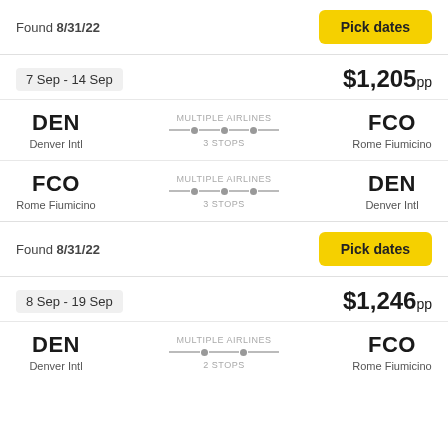Found 8/31/22
Pick dates
7 Sep - 14 Sep
$1,205pp
DEN — Denver Intl — MULTIPLE AIRLINES — 3 STOPS — FCO — Rome Fiumicino
FCO — Rome Fiumicino — MULTIPLE AIRLINES — 3 STOPS — DEN — Denver Intl
Found 8/31/22
Pick dates
8 Sep - 19 Sep
$1,246pp
DEN — Denver Intl — MULTIPLE AIRLINES — 2 STOPS — FCO — Rome Fiumicino